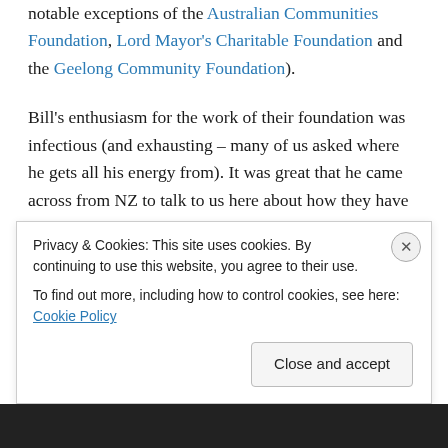notable exceptions of the Australian Communities Foundation, Lord Mayor's Charitable Foundation and the Geelong Community Foundation). Bill's enthusiasm for the work of their foundation was infectious (and exhausting – many of us asked where he gets all his energy from). It was great that he came across from NZ to talk to us here about how they have developed the Acorn Foundation (even though of course the tax structures there are different to ours and they seemed to have less impediments as to whom they can distribute funds to). Thank you Bill for sharing!
Privacy & Cookies: This site uses cookies. By continuing to use this website, you agree to their use. To find out more, including how to control cookies, see here: Cookie Policy